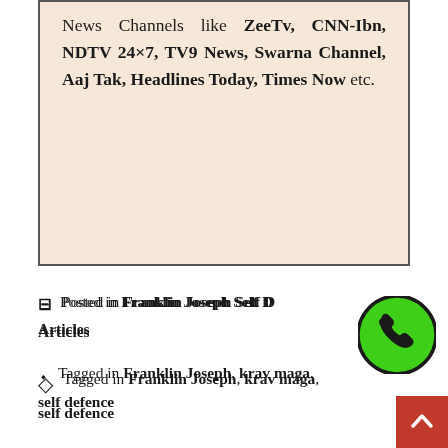News Channels like ZeeTv, CNN-Ibn, NDTV 24×7, TV9 News, Swarna Channel, Aaj Tak, Headlines Today, Times Now etc.
Posted in Franklin Franklin Joseph Self Defence Articles
Tagged in Franklin Joseph, krav maga, self defence